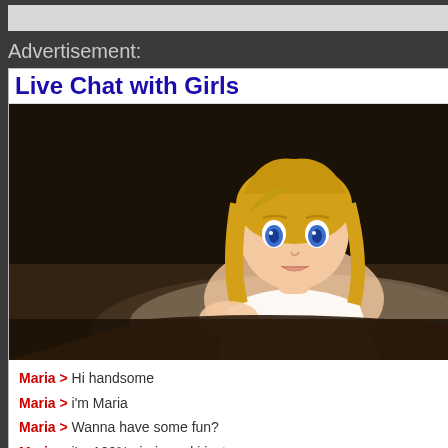[Figure (screenshot): Advertisement banner showing 'Live Chat with Girls' with an anime-style illustration of a blonde girl with blue eyes, followed by chat messages from 'Maria' and a reply input field]
You can use these HTML
published) (required)
Save my name, email, I comment.
Post Comment
This site uses Akismet to redu processed.